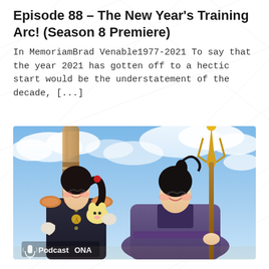Episode 88 – The New Year's Training Arc! (Season 8 Premiere)
In MemoriamBrad Venable1977-2021 To say that the year 2021 has gotten off to a hectic start would be the understatement of the decade, [...]
[Figure (illustration): Anime screenshot showing two characters: a dark-haired girl in a military-style uniform holding a small creature, and a boy in a purple robe holding a staff, with a blue cloudy sky in the background. A 'PodcastONA' watermark appears in the lower left corner.]